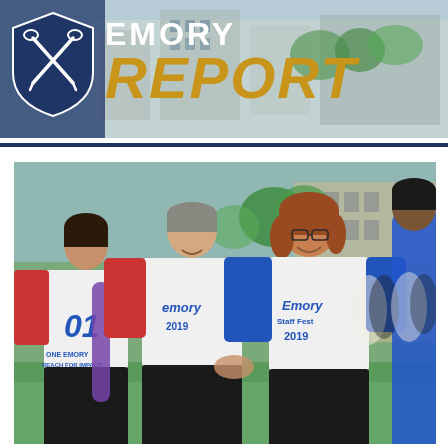[Figure (logo): Emory Report logo banner with shield/crest on left and 'EMORY REPORT' text on right, set against a campus building background]
[Figure (photo): Outdoor campus event photo showing several people smiling and shaking hands, wearing Emory Staff Fest 2019 baseball-style shirts in blue and red/white, on a grassy area with trees and campus buildings in the background]